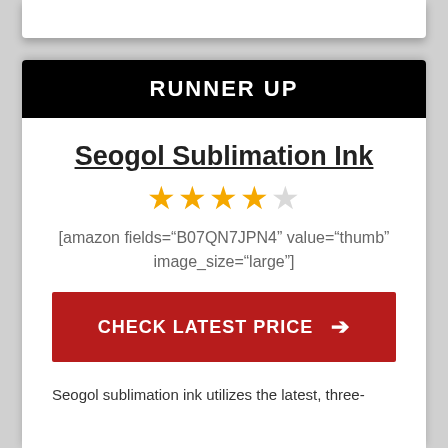RUNNER UP
Seogol Sublimation Ink
★★★★☆
[amazon fields="B07QN7JPN4" value="thumb" image_size="large"]
CHECK LATEST PRICE →
Seogol sublimation ink utilizes the latest, three-